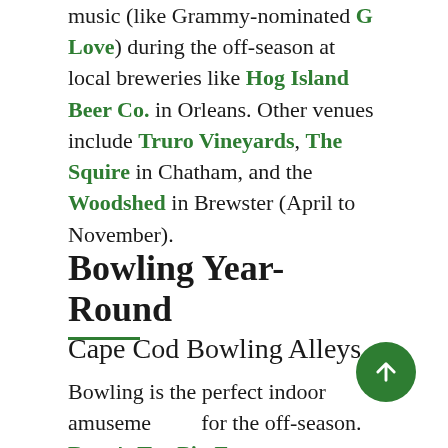music (like Grammy-nominated G Love) during the off-season at local breweries like Hog Island Beer Co. in Orleans. Other venues include Truro Vineyards, The Squire in Chatham, and the Woodshed in Brewster (April to November).
Bowling Year-Round
Cape Cod Bowling Alleys
Bowling is the perfect indoor amusement for the off-season. Ryan's Ten Pin Eatery at Cape Cod Mall in Hyannis is a state-of-the-